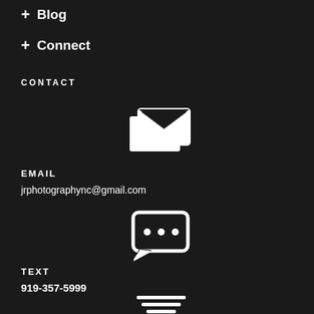+ Blog
+ Connect
CONTACT
[Figure (illustration): Email icon: stacked envelope/mail symbol in white]
EMAIL
jrphotographync@gmail.com
[Figure (illustration): SMS/text message bubble icon with three dots in white]
TEXT
919-357-5999
[Figure (illustration): Menu/list icon with three horizontal lines in white]